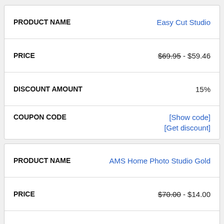| Field | Value |
| --- | --- |
| PRODUCT NAME | Easy Cut Studio |
| PRICE | $69.95 - $59.46 |
| DISCOUNT AMOUNT | 15% |
| COUPON CODE | [Show code] [Get discount] |
| Field | Value |
| --- | --- |
| PRODUCT NAME | AMS Home Photo Studio Gold |
| PRICE | $70.00 - $14.00 |
| DISCOUNT AMOUNT | 80% |